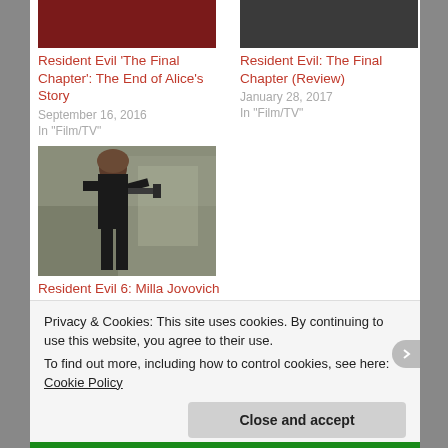[Figure (photo): Resident Evil movie thumbnail (red/dark)]
Resident Evil 'The Final Chapter': The End of Alice's Story
September 16, 2016
In "Film/TV"
[Figure (photo): Resident Evil movie thumbnail (dark)]
Resident Evil: The Final Chapter (Review)
January 28, 2017
In "Film/TV"
[Figure (photo): Photo of Milla Jovovich in dark outfit holding weapon]
Resident Evil 6: Milla Jovovich Reaffirms Filming Date For Summer 2015
January 22, 2015
Privacy & Cookies: This site uses cookies. By continuing to use this website, you agree to their use.
To find out more, including how to control cookies, see here: Cookie Policy
Close and accept